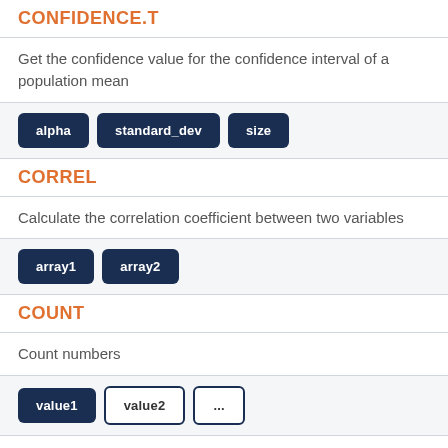CONFIDENCE.T
Get the confidence value for the confidence interval of a population mean
alpha   standard_dev   size
CORREL
Calculate the correlation coefficient between two variables
array1   array2
COUNT
Count numbers
value1   value2   ...